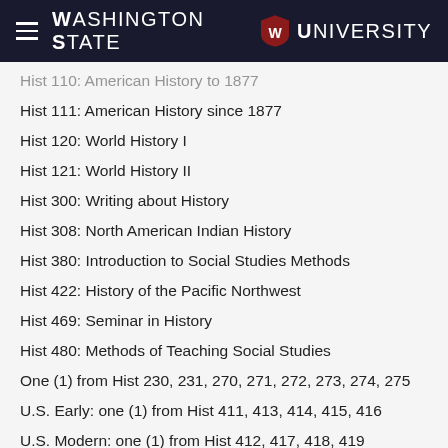Washington State University
Hist 110: American History to 1877
Hist 111: American History since 1877
Hist 120: World History I
Hist 121: World History II
Hist 300: Writing about History
Hist 308: North American Indian History
Hist 380: Introduction to Social Studies Methods
Hist 422: History of the Pacific Northwest
Hist 469: Seminar in History
Hist 480: Methods of Teaching Social Studies
One (1) from Hist 230, 231, 270, 271, 272, 273, 274, 275
U.S. Early: one (1) from Hist 411, 413, 414, 415, 416
U.S. Modern: one (1) from Hist 412, 417, 418, 419
Global/non-Western upper-division: one (1) course
European upper-division: one (1) course